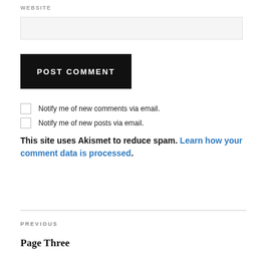WEBSITE
[input field]
POST COMMENT
Notify me of new comments via email.
Notify me of new posts via email.
This site uses Akismet to reduce spam. Learn how your comment data is processed.
PREVIOUS
Page Three